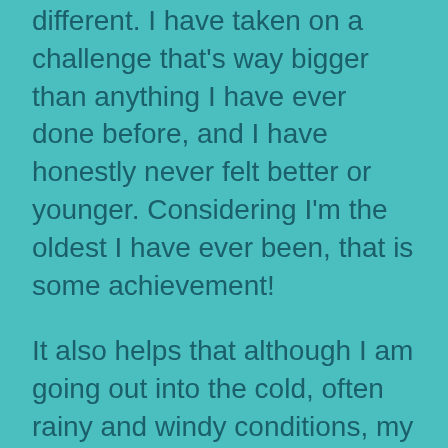This year however couldn't have more different. I have taken on a challenge that's way bigger than anything I have ever done before, and I have honestly never felt better or younger. Considering I'm the oldest I have ever been, that is some achievement!

It also helps that although I am going out into the cold, often rainy and windy conditions, my running gear is black and the brightest pink known to man! The idea was to prevent me getting run over. However a lovely side effect is